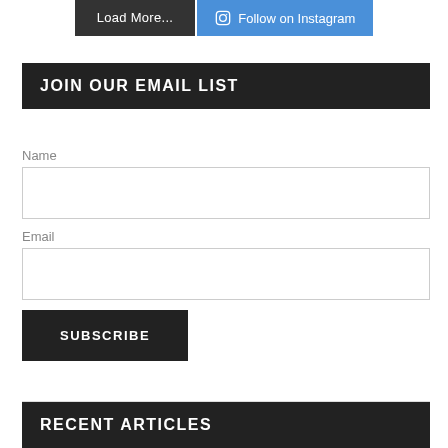Load More...
Follow on Instagram
JOIN OUR EMAIL LIST
Name
Email
SUBSCRIBE
RECENT ARTICLES